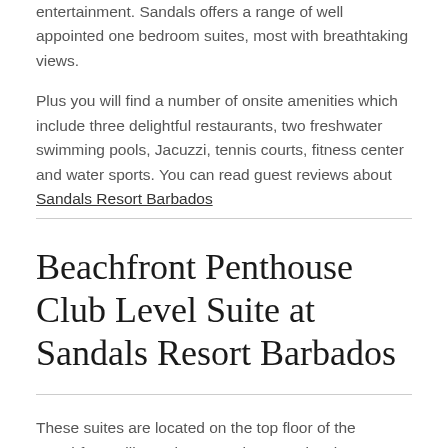entertainment. Sandals offers a range of well appointed one bedroom suites, most with breathtaking views.

Plus you will find a number of onsite amenities which include three delightful restaurants, two freshwater swimming pools, Jacuzzi, tennis courts, fitness center and water sports. You can read guest reviews about Sandals Resort Barbados
Beachfront Penthouse Club Level Suite at Sandals Resort Barbados
These suites are located on the top floor of the Beachfront Village, these penthouse suites boast sweeping views of the Caribbean Sea and beach from